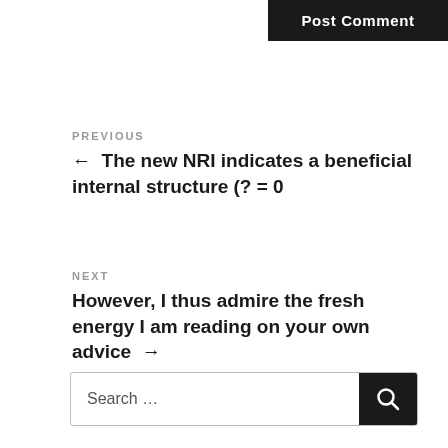Post Comment
PREVIOUS
← The new NRI indicates a beneficial internal structure (? = 0
NEXT
However, I thus admire the fresh energy I am reading on your own advice →
Search …